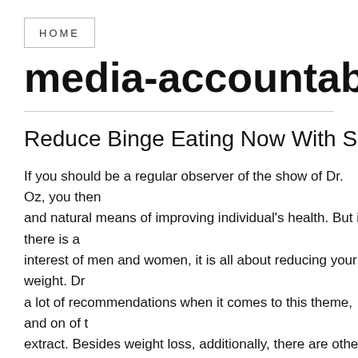HOME
media-accountability.org
Reduce Binge Eating Now With Saffron Ex
If you should be a regular observer of the show of Dr. Oz, you then and natural means of improving individual's health. But if there is a interest of men and women, it is all about reducing your weight. Dr a lot of recommendations when it comes to this theme, and on of t extract. Besides weight loss, additionally, there are other advantag may make your life better.
Saffron is chiefly used as a spice and coloring agent, but it can als advantages to your health too. Firstly, it may effectively hold your c this occurs, you should have a less strenuous managing your weig easiest way to take this supplement is before meals since it can b